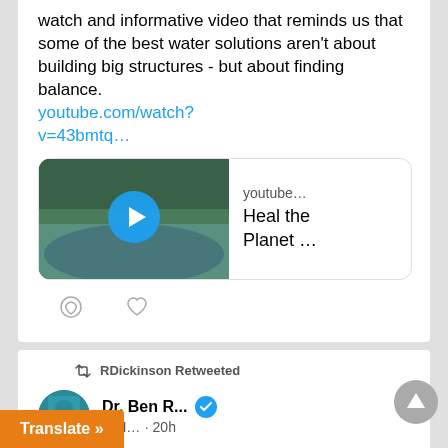watch and informative video that reminds us that some of the best water solutions aren't about building big structures - but about finding balance. youtube.com/watch?v=43bmtq…
[Figure (screenshot): Video preview thumbnail showing 'Heal the Planet With Ponds' YouTube video with landscape/pond imagery and play button]
RDickinson Retweeted
Dr. Ben R... @H... · 20h
easons behind the ge are complex..."
Translate »